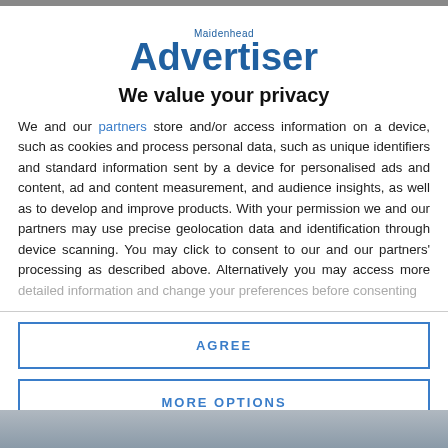[Figure (logo): Maidenhead Advertiser logo — blue text reading 'Maidenhead' small above large 'Advertiser' wordmark]
We value your privacy
We and our partners store and/or access information on a device, such as cookies and process personal data, such as unique identifiers and standard information sent by a device for personalised ads and content, ad and content measurement, and audience insights, as well as to develop and improve products. With your permission we and our partners may use precise geolocation data and identification through device scanning. You may click to consent to our and our partners' processing as described above. Alternatively you may access more detailed information and change your preferences before consenting
AGREE
MORE OPTIONS